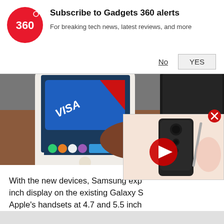[Figure (logo): Gadgets 360 logo - red circle with '360' text in white]
Subscribe to Gadgets 360 alerts
For breaking tech news, latest reviews, and more
No
YES
[Figure (photo): A hand holding a Samsung Galaxy smartphone displaying a Visa card on screen, with a dark phone in the upper right corner on a gray surface]
With the new devices, Samsung exp inch display on the existing Galaxy S Apple's handsets at 4.7 and 5.5 inch
[Figure (photo): Video thumbnail overlay showing a dark smartphone (Oppo/Realme style) on a pink surface with pen, with a red play button overlay]